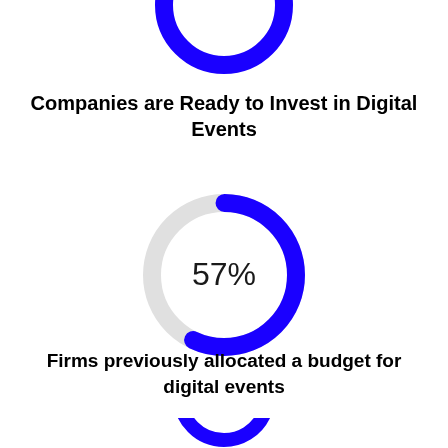[Figure (donut-chart): Partial blue donut chart arc cropped at top of page, matching style of main donut chart below]
Companies are Ready to Invest in Digital Events
[Figure (donut-chart): 57% donut chart]
Firms previously allocated a budget for digital events
[Figure (donut-chart): Partial blue donut chart arc cropped at bottom of page]